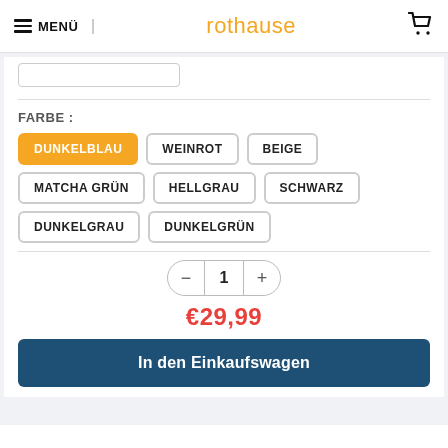MENÜ | rothause | cart
FARBE :
DUNKELBLAU (selected)
WEINROT
BEIGE
MATCHA GRÜN
HELLGRAU
SCHWARZ
DUNKELGRAU
DUNKELGRÜN
1
€29,99
In den Einkaufswagen